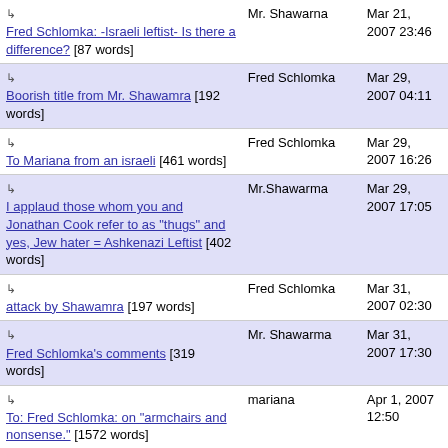| Title | Author | Date |
| --- | --- | --- |
| ↳ Fred Schlomka: -Israeli leftist- Is there a difference? [87 words] | Mr. Shawarna | Mar 21, 2007 23:46 |
| ↳ Boorish title from Mr. Shawamra [192 words] | Fred Schlomka | Mar 29, 2007 04:11 |
| ↳ To Mariana from an israeli [461 words] | Fred Schlomka | Mar 29, 2007 16:26 |
| ↳ I applaud those whom you and Jonathan Cook refer to as "thugs" and yes, Jew hater = Ashkenazi Leftist [402 words] | Mr.Shawarma | Mar 29, 2007 17:05 |
| ↳ attack by Shawamra [197 words] | Fred Schlomka | Mar 31, 2007 02:30 |
| ↳ Fred Schlomka's comments [319 words] | Mr. Shawarma | Mar 31, 2007 17:30 |
| ↳ To: Fred Schlomka: on "armchairs and nonsense." [1572 words] | mariana | Apr 1, 2007 12:50 |
| ↳ some comments for Mariana [878 words] | Fred Schlomka | Apr 2, 2007 04:32 |